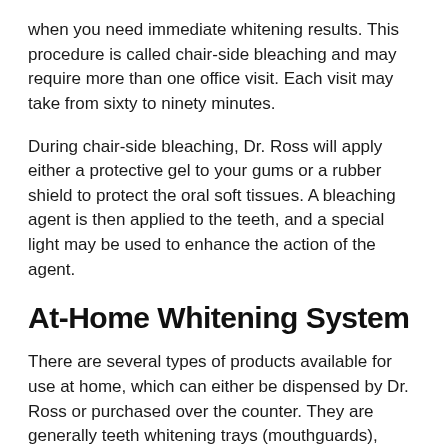when you need immediate whitening results. This procedure is called chair-side bleaching and may require more than one office visit. Each visit may take from sixty to ninety minutes.
During chair-side bleaching, Dr. Ross will apply either a protective gel to your gums or a rubber shield to protect the oral soft tissues. A bleaching agent is then applied to the teeth, and a special light may be used to enhance the action of the agent.
At-Home Whitening System
There are several types of products available for use at home, which can either be dispensed by Dr. Ross or purchased over the counter. They are generally teeth whitening trays (mouthguards), strips, or paint-on products.
Teeth Whitening Trays